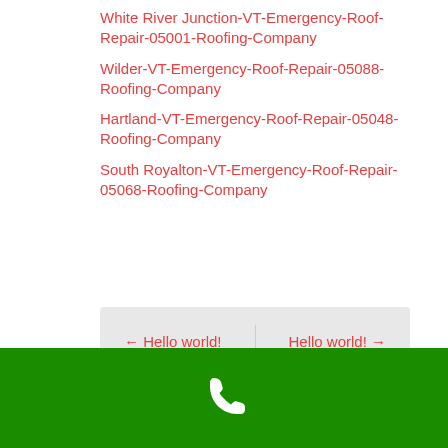White River Junction-VT-Emergency-Roof-Repair-05001-Roofing-Company
Wilder-VT-Emergency-Roof-Repair-05088-Roofing-Company
Hartland-VT-Emergency-Roof-Repair-05048-Roofing-Company
South Royalton-VT-Emergency-Roof-Repair-05068-Roofing-Company
← Hello world!    Hello world! →
[Figure (other): Green footer bar with white phone icon in the center]